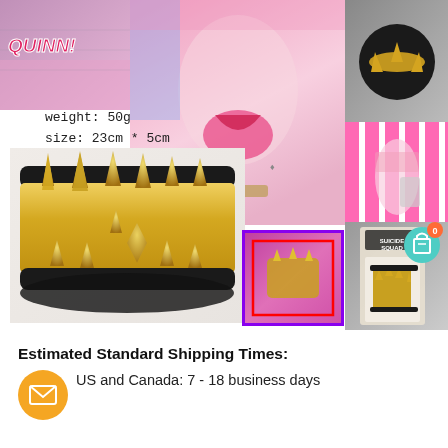[Figure (photo): Product listing collage showing a gold spiked leather bracelet (Harley Quinn Suicide Squad style). Multiple views: main product photo with weight 50g and size 23cm*5cm labels, character portrait, product in packaging, and wrist shot with highlighted selection box. Cart icon with 0 badge visible.]
Estimated Standard Shipping Times:
US and Canada: 7 - 18 business days